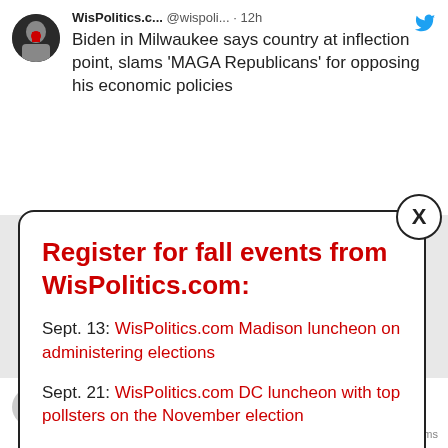WisPolitics.c... @wispoli... · 12h
Biden in Milwaukee says country at inflection point, slams 'MAGA Republicans' for opposing his economic policies
Register for fall events from WisPolitics.com:
Sept. 13: WisPolitics.com Madison luncheon on administering elections
Sept. 21: WisPolitics.com DC luncheon with top pollsters on the November election
Sept. 29: Annual WisPolitics.com Midwest Polling Summit
Oct. 18: WisPolitics.com Madison luncheon on top legislative races
union members share mixed views on forgiving student loan debt
Privacy · Terms